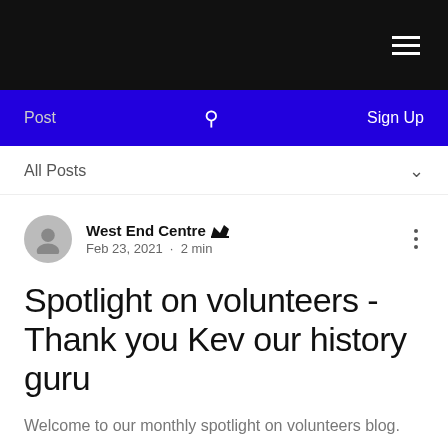Navigation bar with hamburger menu icon
Post  [search icon]  Sign Up
All Posts
West End Centre  [admin crown icon]
Feb 23, 2021 · 2 min
Spotlight on volunteers - Thank you Kev our history guru
Welcome to our monthly spotlight on volunteers blog.